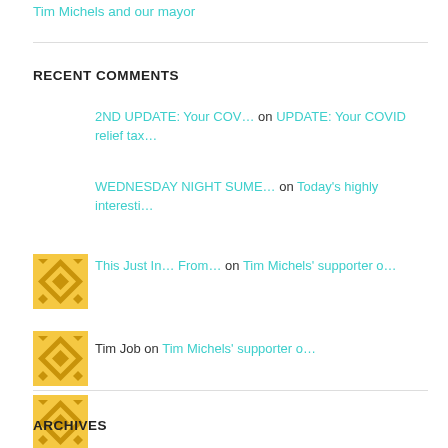Tim Michels and our mayor
RECENT COMMENTS
2ND UPDATE: Your COV… on UPDATE: Your COVID relief tax…
WEDNESDAY NIGHT SUME… on Today's highly interesti…
This Just In… From… on Tim Michels' supporter o…
Tim Job on Tim Michels' supporter o…
This Just In… From… on Tim Michels' supporter o…
ARCHIVES